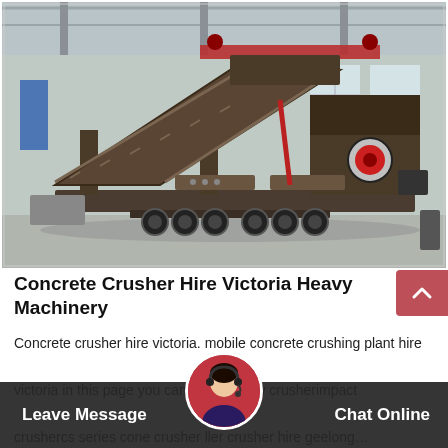[Figure (photo): A large mobile concrete crusher/crushing plant on a wheeled trailer, photographed inside an industrial factory/warehouse. The machine is dark brown/grey steel, with a large inclined conveyor and crushing unit. Red overhead crane visible in background.]
Concrete Crusher Hire Victoria Heavy Machinery
Concrete crusher hire victoria. mobile concrete crushing plant hire victoria in this page you can find crusherjaw crusherimpact crushercs series cone crusher roller crusher hire geelong…